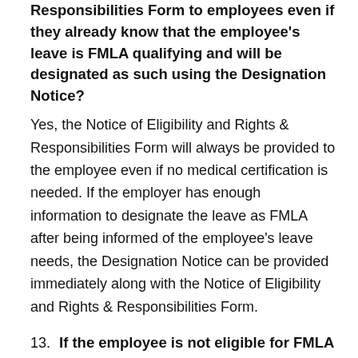Responsibilities Form to employees even if they already know that the employee's leave is FMLA qualifying and will be designated as such using the Designation Notice?
Yes, the Notice of Eligibility and Rights & Responsibilities Form will always be provided to the employee even if no medical certification is needed. If the employer has enough information to designate the leave as FMLA after being informed of the employee's leave needs, the Designation Notice can be provided immediately along with the Notice of Eligibility and Rights & Responsibilities Form.
13. If the employee is not eligible for FMLA when their leave begins, but later meets the